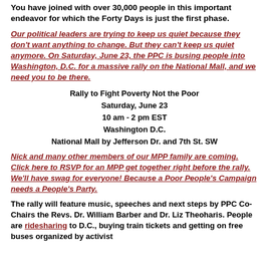You have joined with over 30,000 people in this important endeavor for which the Forty Days is just the first phase.
Our political leaders are trying to keep us quiet because they don't want anything to change. But they can't keep us quiet anymore. On Saturday, June 23, the PPC is busing people into Washington, D.C. for a massive rally on the National Mall, and we need you to be there.
Rally to Fight Poverty Not the Poor
Saturday, June 23
10 am - 2 pm EST
Washington D.C.
National Mall by Jefferson Dr. and 7th St. SW
Nick and many other members of our MPP family are coming. Click here to RSVP for an MPP get together right before the rally. We'll have swag for everyone! Because a Poor People's Campaign needs a People's Party.
The rally will feature music, speeches and next steps by PPC Co-Chairs the Revs. Dr. William Barber and Dr. Liz Theoharis. People are ridesharing to D.C., buying train tickets and getting on free buses organized by activist